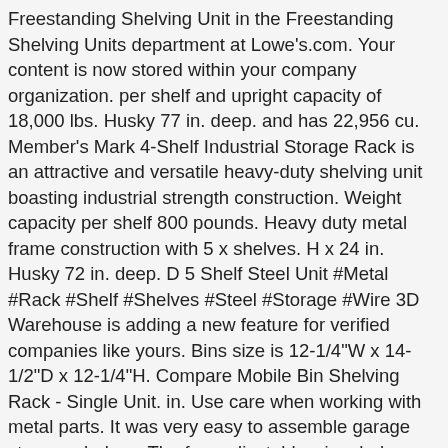Freestanding Shelving Unit in the Freestanding Shelving Units department at Lowe's.com. Your content is now stored within your company organization. per shelf and upright capacity of 18,000 lbs. Husky 77 in. deep. and has 22,956 cu. Member's Mark 4-Shelf Industrial Storage Rack is an attractive and versatile heavy-duty shelving unit boasting industrial strength construction. Weight capacity per shelf 800 pounds. Heavy duty metal frame construction with 5 x shelves. H x 24 in. Husky 72 in. deep. D 5 Shelf Steel Unit #Metal #Rack #Shelf #Shelves #Steel #Storage #Wire 3D Warehouse is adding a new feature for verified companies like yours. Bins size is 12-1/4"W x 14-1/2"D x 12-1/4"H. Compare Mobile Bin Shelving Rack - Single Unit. in. Use care when working with metal parts. It was very easy to assemble garage storage shelves. The four adjustable wire shelves provide ample storage space to accommodate a variety of heavy items, each shelf supporting up to 1500 lbs. H x 48 in. H x 24 in. Date published: 2020-11-27. wide and 24 in. with 50 Lb. wide and 24 in. Seville Classics NSF-Certified Heavy-Duty